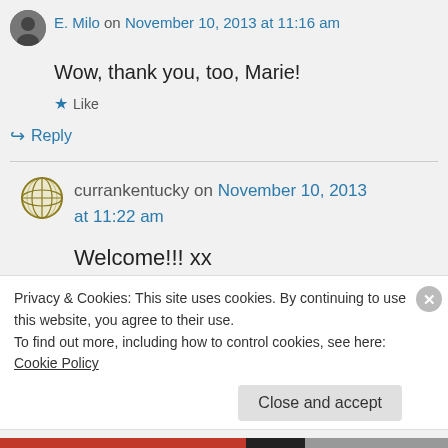E. Milo on November 10, 2013 at 11:16 am
Wow, thank you, too, Marie!
Like
Reply
currankentucky on November 10, 2013 at 11:22 am
Welcome!!! xx
Privacy & Cookies: This site uses cookies. By continuing to use this website, you agree to their use. To find out more, including how to control cookies, see here: Cookie Policy
Close and accept